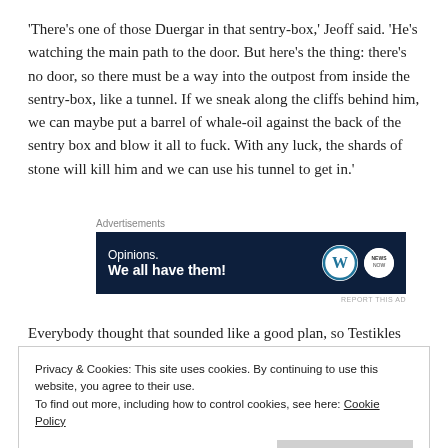'There's one of those Duergar in that sentry-box,' Jeoff said. 'He's watching the main path to the door. But here's the thing: there's no door, so there must be a way into the outpost from inside the sentry-box, like a tunnel. If we sneak along the cliffs behind him, we can maybe put a barrel of whale-oil against the back of the sentry box and blow it all to fuck. With any luck, the shards of stone will kill him and we can use his tunnel to get in.'
[Figure (other): Advertisement banner: dark navy background with text 'Opinions. We all have them!' and WordPress and news logos on the right.]
Everybody thought that sounded like a good plan, so Testikles
Privacy & Cookies: This site uses cookies. By continuing to use this website, you agree to their use. To find out more, including how to control cookies, see here: Cookie Policy
He was sneaky, even though the snow was slippery. He did not